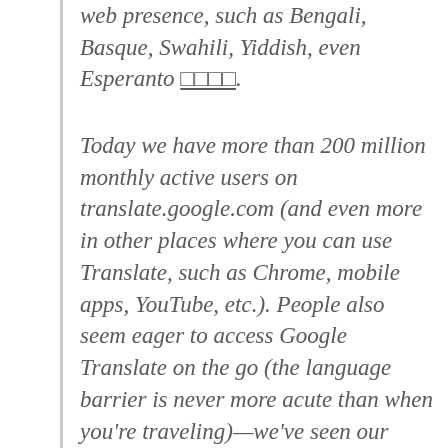web presence, such as Bengali, Basque, Swahili, Yiddish, even Esperanto □□□□.
Today we have more than 200 million monthly active users on translate.google.com (and even more in other places where you can use Translate, such as Chrome, mobile apps, YouTube, etc.). People also seem eager to access Google Translate on the go (the language barrier is never more acute than when you're traveling)—we've seen our mobile traffic more than quadruple year over year. And our users are truly global: more than 92 percent of our traffic comes from outside the United States.